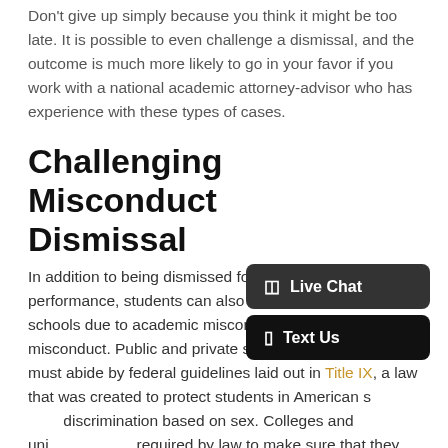Don't give up simply because you think it might be too late. It is possible to even challenge a dismissal, and the outcome is much more likely to go in your favor if you work with a national academic attorney-advisor who has experience with these types of cases.
Challenging Misconduct Dismissal
In addition to being dismissed for poor academic performance, students can also be dismissed from schools due to academic misconduct or any other type of misconduct. Public and private schools in Oklahoma must abide by federal guidelines laid out in Title IX, a law that was created to protect students in American s[chools from] discrimination based on sex. Colleges and uni[versities are] required by law to make sure that they follow federal law by reacting swiftly to any types of infractions that violate Title IX.